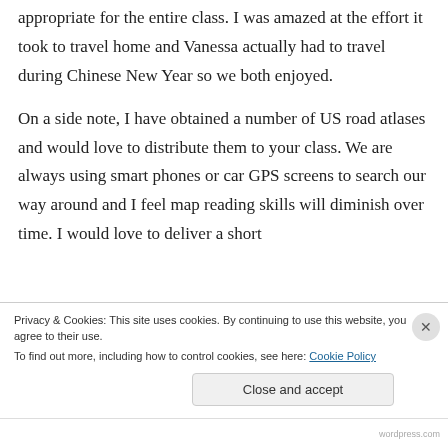appropriate for the entire class. I was amazed at the effort it took to travel home and Vanessa actually had to travel during Chinese New Year so we both enjoyed.
On a side note, I have obtained a number of US road atlases and would love to distribute them to your class. We are always using smart phones or car GPS screens to search our way around and I feel map reading skills will diminish over time. I would love to deliver a short
Privacy & Cookies: This site uses cookies. By continuing to use this website, you agree to their use.
To find out more, including how to control cookies, see here: Cookie Policy